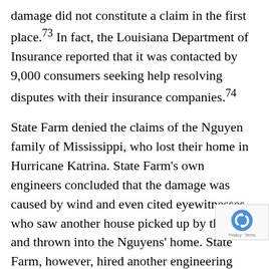damage did not constitute a claim in the first place.73 In fact, the Louisiana Department of Insurance reported that it was contacted by 9,000 consumers seeking help resolving disputes with their insurance companies.74
State Farm denied the claims of the Nguyen family of Mississippi, who lost their home in Hurricane Katrina. State Farm's own engineers concluded that the damage was caused by wind and even cited eyewitnesses who saw another house picked up by the wind and thrown into the Nguyens' home. State Farm, however, hired another engineering firm to come to a different conclusion and then denied the claim, saying the damage was caused by flood. State Farm also denied the claims of Dean Barras in